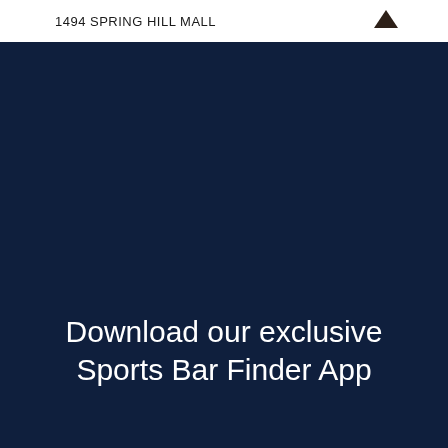1494 SPRING HILL MALL
[Figure (illustration): Dark navy blue background filling the lower portion of the page]
Download our exclusive Sports Bar Finder App